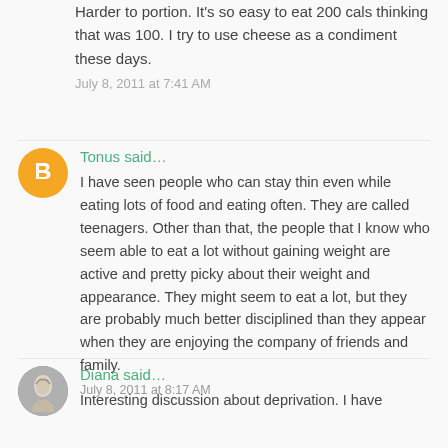Harder to portion. It's so easy to eat 200 cals thinking that was 100. I try to use cheese as a condiment these days.
July 8, 2011 at 7:41 AM
Tonus said…
I have seen people who can stay thin even while eating lots of food and eating often. They are called teenagers. Other than that, the people that I know who seem able to eat a lot without gaining weight are active and pretty picky about their weight and appearance. They might seem to eat a lot, but they are probably much better disciplined than they appear when they are enjoying the company of friends and family.
July 8, 2011 at 8:17 AM
Diana said…
Interesting discussion about deprivation. I have